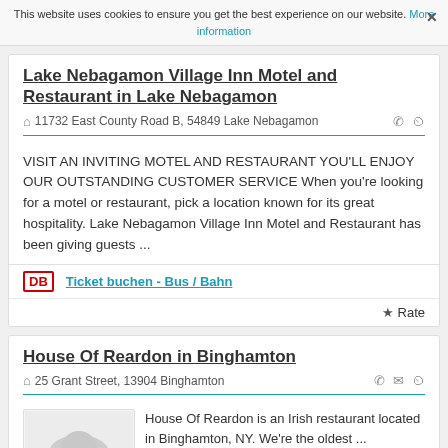This website uses cookies to ensure you get the best experience on our website. More information ×
Lake Nebagamon Village Inn Motel and Restaurant in Lake Nebagamon
🏠 11732 East County Road B, 54849 Lake Nebagamon
VISIT AN INVITING MOTEL AND RESTAURANT YOU'LL ENJOY OUR OUTSTANDING CUSTOMER SERVICE When you're looking for a motel or restaurant, pick a location known for its great hospitality. Lake Nebagamon Village Inn Motel and Restaurant has been giving guests ...
DB  Ticket buchen - Bus / Bahn
★ Rate
House Of Reardon in Binghamton
🏠 25 Grant Street, 13904 Binghamton
House Of Reardon is an Irish restaurant located in Binghamton, NY. We're the oldest ...